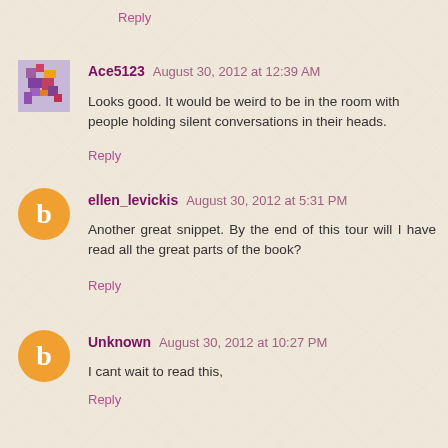Reply
Ace5123  August 30, 2012 at 12:39 AM
Looks good. It would be weird to be in the room with people holding silent conversations in their heads.
Reply
ellen_levickis  August 30, 2012 at 5:31 PM
Another great snippet. By the end of this tour will I have read all the great parts of the book?
Reply
Unknown  August 30, 2012 at 10:27 PM
I cant wait to read this,
Reply